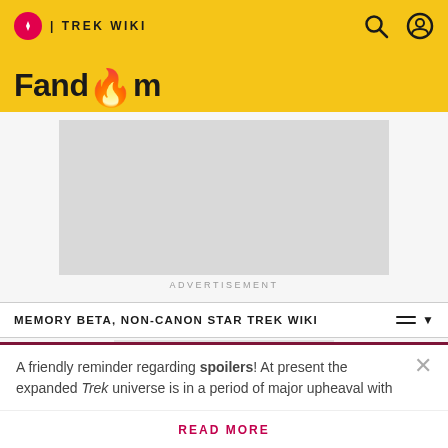TREK WIKI | Fandom
[Figure (other): Advertisement placeholder (gray box)]
ADVERTISEMENT
MEMORY BETA, NON-CANON STAR TREK WIKI
Year Four
A friendly reminder regarding spoilers! At present the expanded Trek universe is in a period of major upheaval with
READ MORE